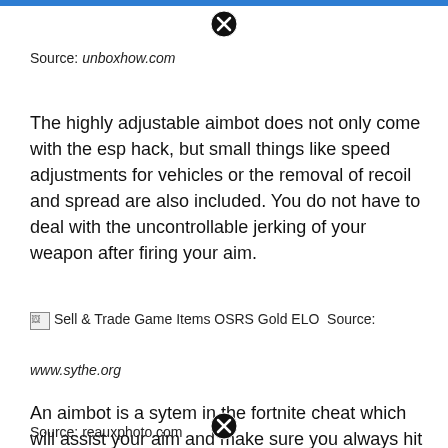[Figure (other): Blue horizontal bar at top of page]
[Figure (other): Close/cancel button (circled X) near top center]
Source: unboxhow.com
The highly adjustable aimbot does not only come with the esp hack, but small things like speed adjustments for vehicles or the removal of recoil and spread are also included. You do not have to deal with the uncontrollable jerking of your weapon after firing your aim.
[Figure (other): Broken image placeholder with alt text 'Sell & Trade Game Items OSRS Gold ELO']
Source: www.sythe.org
An aimbot is a sytem in the fortnite cheat which will assist your aim and make sure you always hit your intended target. Get instant access to over 44 pc game cheats when you become a vip!
[Figure (other): Close/cancel button (circled X) near bottom center]
Source: reauxphoto.com